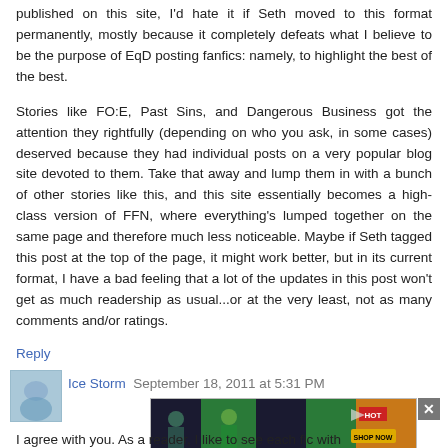published on this site, I'd hate it if Seth moved to this format permanently, mostly because it completely defeats what I believe to be the purpose of EqD posting fanfics: namely, to highlight the best of the best.
Stories like FO:E, Past Sins, and Dangerous Business got the attention they rightfully (depending on who you ask, in some cases) deserved because they had individual posts on a very popular blog site devoted to them. Take that away and lump them in with a bunch of other stories like this, and this site essentially becomes a high-class version of FFN, where everything's lumped together on the same page and therefore much less noticeable. Maybe if Seth tagged this post at the top of the page, it might work better, but in its current format, I have a bad feeling that a lot of the updates in this post won't get as much readership as usual...or at the very least, not as many comments and/or ratings.
Reply
Ice Storm  September 18, 2011 at 5:31 PM
[Figure (photo): Advertisement banner with figures in green and dark background, HOT label and SHOP NOW button]
I agree with you. As a reader, I like to see each fic with